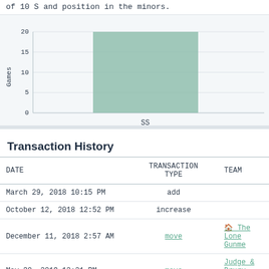of 10 S and position in the minors.
[Figure (bar-chart): Games by Position]
Transaction History
| DATE | TRANSACTION TYPE | TEAM |
| --- | --- | --- |
| March 29, 2018 10:15 PM | add |  |
| October 12, 2018 12:52 PM | increase |  |
| December 11, 2018 2:57 AM | move | 🏠 The Lone Gunme... |
| May 30, 2019 12:21 PM | move | Judge & Drury (...) |
| June 14, 2019 3:36 PM | move | Wandering H... |